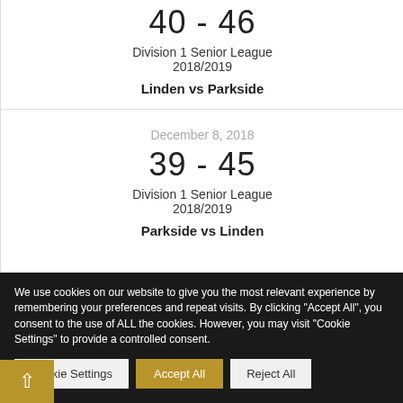40 - 46
Division 1 Senior League
2018/2019
Linden vs Parkside
December 8, 2018
39 - 45
Division 1 Senior League
2018/2019
Parkside vs Linden
We use cookies on our website to give you the most relevant experience by remembering your preferences and repeat visits. By clicking "Accept All", you consent to the use of ALL the cookies. However, you may visit "Cookie Settings" to provide a controlled consent.